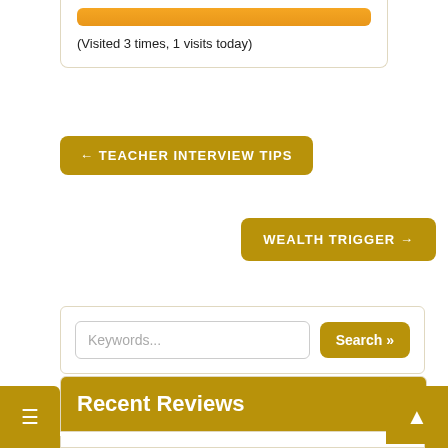(Visited 3 times, 1 visits today)
← TEACHER INTERVIEW TIPS
WEALTH TRIGGER →
Keywords...
Search »
Recent Reviews
WEALTH DNA CODE
VEGANIFY